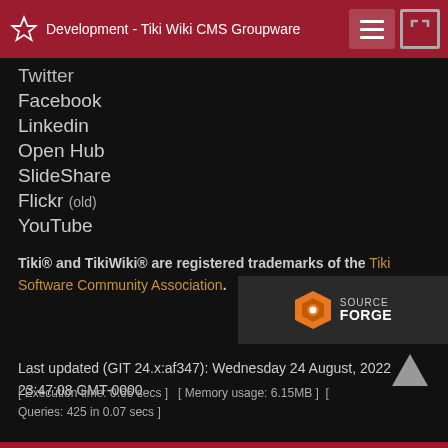Development - Tiki Wiki CMS Groupware
Twitter
Facebook
Linkedin
Open Hub
SlideShare
Flickr (old)
YouTube
Tiki® and TikiWiki® are registered trademarks of the Tiki Software Community Association.
[Figure (logo): SourceForge logo badge with orange diamond icon and SOURCEFORGE text on dark background]
Last updated (GIT 24.x:af347): Wednesday 24 August, 2022 23:47:08 GMT-0000
[ Execution time: 0.66 secs ]   [ Memory usage: 6.15MB ]  [ Queries: 425 in 0.07 secs ]